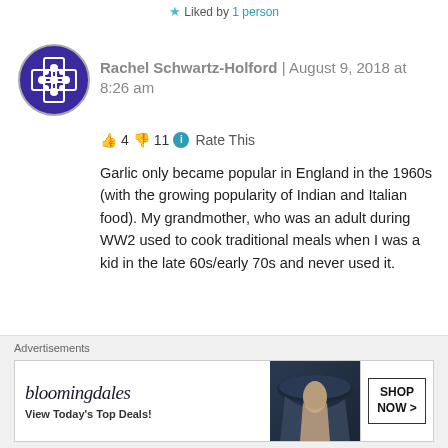★ Liked by 1 person
Rachel Schwartz-Holford | August 9, 2018 at 8:26 am
👍 4 👎 11 ℹ Rate This
Garlic only became popular in England in the 1960s (with the growing popularity of Indian and Italian food). My grandmother, who was an adult during WW2 used to cook traditional meals when I was a kid in the late 60s/early 70s and never used it.
★ Like
Advertisements
[Figure (screenshot): Bloomingdales advertisement banner: 'bloomingdales - View Today's Top Deals!' with a woman in a hat and 'SHOP NOW >' button]